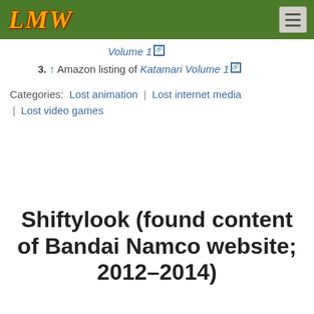LMW
Volume 1 [external link]
3. ↑ Amazon listing of Katamari Volume 1 [external link]
Categories:  Lost animation | Lost internet media | Lost video games
Shiftylook (found content of Bandai Namco website; 2012–2014)